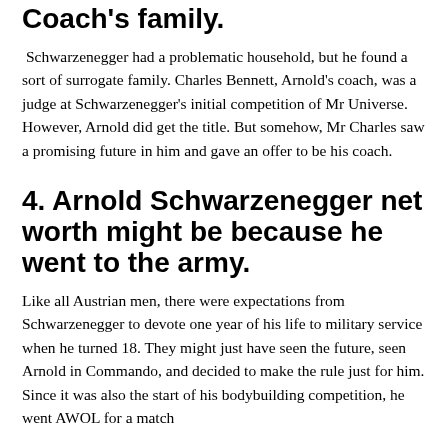Coach's family.
Schwarzenegger had a problematic household, but he found a sort of surrogate family. Charles Bennett, Arnold's coach, was a judge at Schwarzenegger's initial competition of Mr Universe. However, Arnold did get the title. But somehow, Mr Charles saw a promising future in him and gave an offer to be his coach.
4. Arnold Schwarzenegger net worth might be because he went to the army.
Like all Austrian men, there were expectations from Schwarzenegger to devote one year of his life to military service when he turned 18. They might just have seen the future, seen Arnold in Commando, and decided to make the rule just for him. Since it was also the start of his bodybuilding competition, he went AWOL for a match